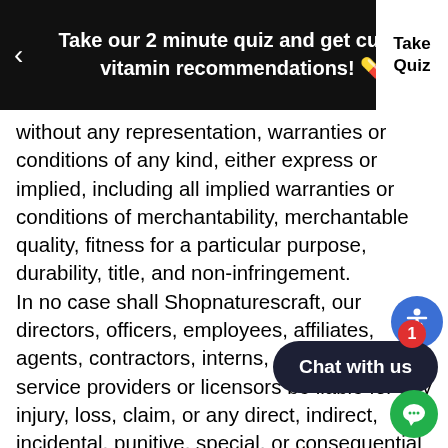Take our 2 minute quiz and get custom vitamin recommendations! 💊
without any representation, warranties or conditions of any kind, either express or implied, including all implied warranties or conditions of merchantability, merchantable quality, fitness for a particular purpose, durability, title, and non-infringement.
In no case shall Shopnaturescraft, our directors, officers, employees, affiliates, agents, contractors, interns, suppliers, service providers or licensors be liable for any injury, loss, claim, or any direct, indirect, incidental, punitive, special, or consequential damages of any kind, including, without limitation lost profits, lost revenue, lost savings, loss of data, replacement costs, or any similar damages, whether based in contract, tort (including negligence), strict liability or otherwise, arising from your use of any of the services or any products procured using the service, or for any other claim related in any way to your use of the